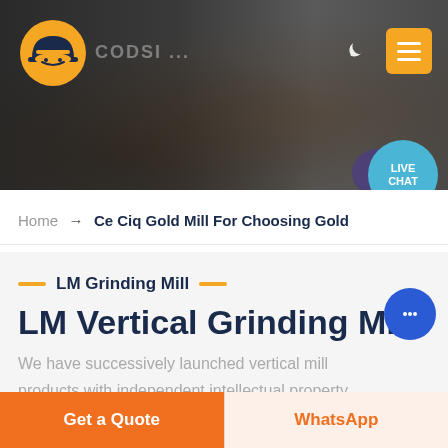[Figure (screenshot): Website header with dark industrial background showing machinery, orange logo on left, moon icon and orange menu button on right, teal live chat bubble]
Home → Ce Ciq Gold Mill For Choosing Gold
LM Grinding Mill
LM Vertical Grinding Mill
We have successively launched vertical mill products with independent intellectual property rights. Product Featu... Integration of multiple functions, more stable and reliable...
Get a Quote
WhatsApp